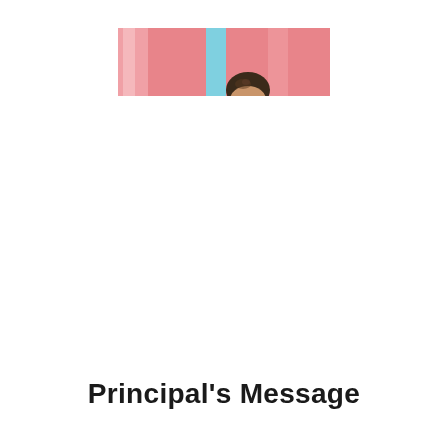[Figure (photo): A cropped photo showing a pink background with a vertical cyan/light-blue stripe on the left portion, and a person's head (top of head visible, peeking from below) on the right side against the pink background.]
Principal's Message